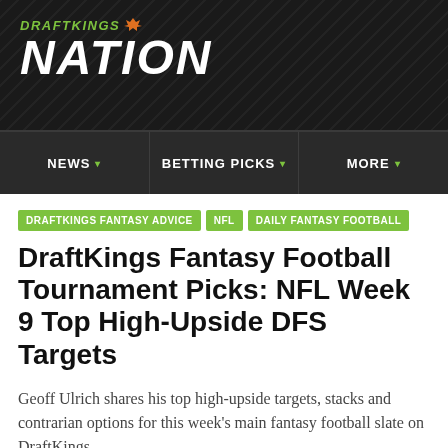DRAFTKINGS NATION
NEWS | BETTING PICKS | MORE
DRAFTKINGS FANTASY ADVICE
NFL
DAILY FANTASY FOOTBALL
DraftKings Fantasy Football Tournament Picks: NFL Week 9 Top High-Upside DFS Targets
Geoff Ulrich shares his top high-upside targets, stacks and contrarian options for this week's main fantasy football slate on DraftKings.
By Geoffrey Ulrich | @thefantasygrind | Nov 5, 2020, 7:17am PST